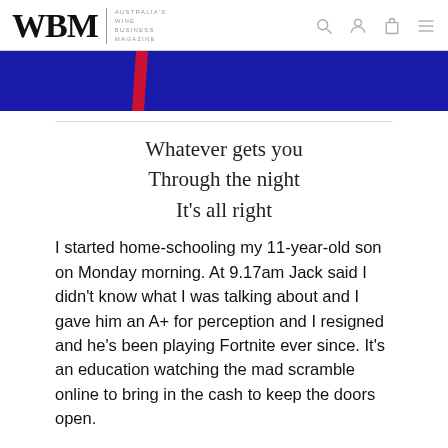WBM — Australia's Wine Business Magazine
[Figure (illustration): Blue banner with a diagonal red/dark slash mark on a dark blue background]
Whatever gets you
Through the night
It's all right
I started home-schooling my 11-year-old son on Monday morning. At 9.17am Jack said I didn't know what I was talking about and I gave him an A+ for perception and I resigned and he's been playing Fortnite ever since. It's an education watching the mad scramble online to bring in the cash to keep the doors open.